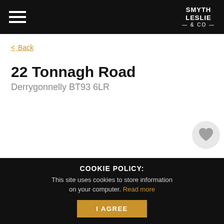Smyth Leslie & Co
< Back
22 Tonnagh Road
Derrygonnelly BT93 6LR
[Figure (illustration): Gray heart icon inside a light gray circle, used as a favourites/save button]
COOKIE POLICY: This site uses cookies to store information on your computer. Read more
I AGREE